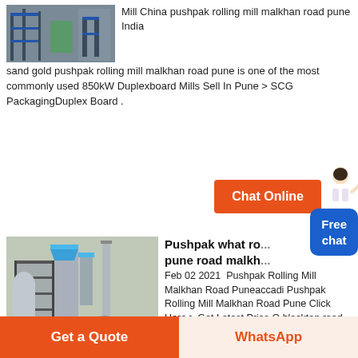[Figure (photo): Industrial machinery/mill equipment photo at top left]
Mill China pushpak rolling mill malkhan road pune India sand gold pushpak rolling mill malkhan road pune is one of the most commonly used 850kW Duplexboard Mills Sell In Pune > SCG PackagingDuplex Board .
[Figure (illustration): Blue chat online button with female avatar]
[Figure (illustration): Free chat blue button]
[Figure (photo): Industrial plant/aggregate crushing facility 3D render]
Pushpak what ro... pune road malkh...
Feb 02 2021  Pushpak Rolling Mill Malkhan Road Puneaccadi Pushpak Rolling Mill Malkhan Road Pune Click Here > Get Latest Price Q blacktop road based on layers of crushed stone named.Mot type 1 stone aggregate crushed stone for patios crushed stone sold loose as hardcore aggregate is classed as mot type 1 which means that it is approved for use by
Get a Quote | WhatsApp